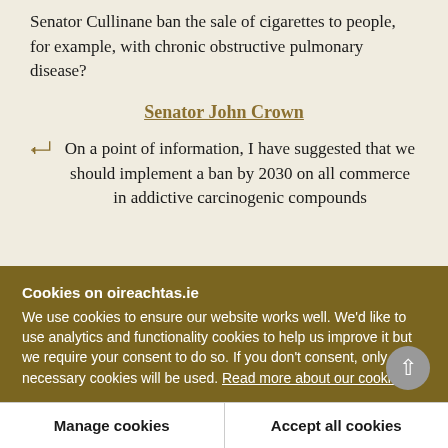Senator Cullinane ban the sale of cigarettes to people, for example, with chronic obstructive pulmonary disease?
Senator John Crown
On a point of information, I have suggested that we should implement a ban by 2030 on all commerce in addictive carcinogenic compounds
Cookies on oireachtas.ie
We use cookies to ensure our website works well. We'd like to use analytics and functionality cookies to help us improve it but we require your consent to do so. If you don't consent, only necessary cookies will be used. Read more about our cookies
Manage cookies
Accept all cookies